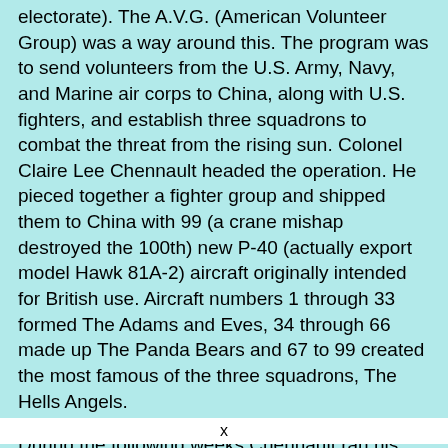electorate). The A.V.G. (American Volunteer Group) was a way around this. The program was to send volunteers from the U.S. Army, Navy, and Marine air corps to China, along with U.S. fighters, and establish three squadrons to combat the threat from the rising sun. Colonel Claire Lee Chennault headed the operation. He pieced together a fighter group and shipped them to China with 99 (a crane mishap destroyed the 100th) new P-40 (actually export model Hawk 81A-2) aircraft originally intended for British use. Aircraft numbers 1 through 33 formed The Adams and Eves, 34 through 66 made up The Panda Bears and 67 to 99 created the most famous of the three squadrons, The Hells Angels.
During the following weeks Chennault ran his crews ragged, training them to fly and maintain the P-40. He understood its shortcomings, mainly inferior turn rate and a slow rate of climb, and taught his men to maximize its effectiveness by using the P-40's superior top and diving speed to hit and run. He also preached fighting in pairs, rather than in Vic of
x